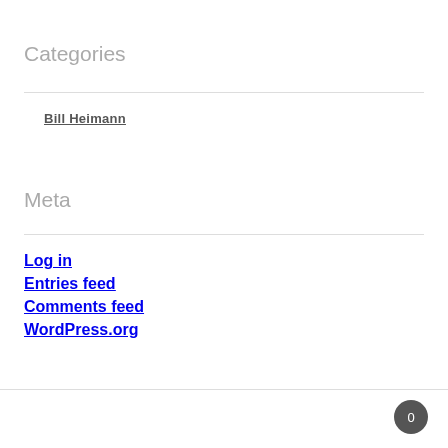Categories
Bill Heimann
Meta
Log in
Entries feed
Comments feed
WordPress.org
0